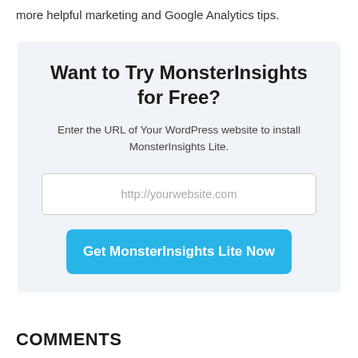more helpful marketing and Google Analytics tips.
Want to Try MonsterInsights for Free?
Enter the URL of Your WordPress website to install MonsterInsights Lite.
COMMENTS